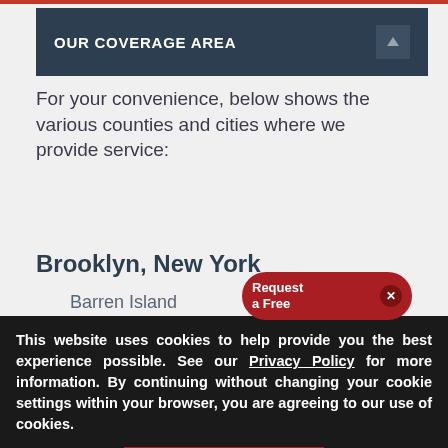OUR COVERAGE AREA
For your convenience, below shows the various counties and cities where we provide service:
Brooklyn, New York
Barren Island
Carr…
This website uses cookies to help provide you the best experience possible. See our Privacy Policy for more information. By continuing without changing your cookie settings within your browser, you are agreeing to our use of cookies.
ACCEPT